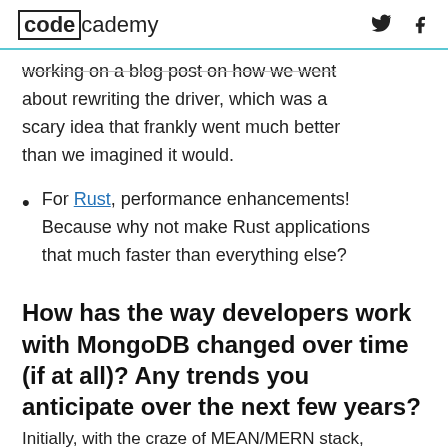codecademy
working on a blog post on how we went about rewriting the driver, which was a scary idea that frankly went much better than we imagined it would.
For Rust, performance enhancements! Because why not make Rust applications that much faster than everything else?
How has the way developers work with MongoDB changed over time (if at all)? Any trends you anticipate over the next few years?
Initially, with the craze of MEAN/MERN stack,